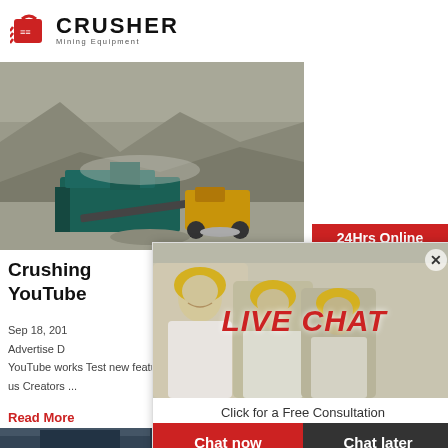[Figure (logo): Crusher Mining Equipment logo - red shopping bag icon with CRUSHER text in bold black and Mining Equipment subtitle]
[Figure (photo): Mining quarry with large crushing equipment machines, excavators, and rock piles in a stone quarry]
Crushing YouTube
Sep 18, 201
Advertise D
YouTube works Test new features Press Copyrig us Creators ...
Read More
[Figure (photo): Live chat overlay with construction workers in yellow helmets and LIVE CHAT text in red, with Chat now and Chat later buttons]
[Figure (photo): Sidebar with woman wearing headset - 24Hrs Online service chat support]
24Hrs Online
Need questions & suggestion?
Chat Now
Enquiry
limingjlmofen@sina.com
[Figure (photo): Bottom article photo showing mining/crushing equipment at a quarry site]